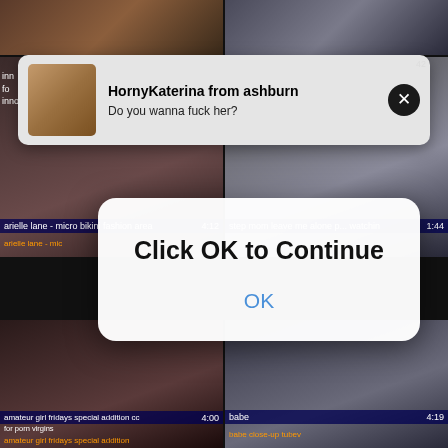[Figure (screenshot): Background grid of 6 video thumbnails in a 2-column layout showing adult video content with labels and durations]
HornyKaterina from ashburn
Do you wanna fuck her?
Click OK to Continue
OK
arielle lane - micro bikini fashion area 4:12
arielle lane - mic
step mom leave me alone p... watching 1:44
watching
amateur girl fridays special addition cc 4:00
for porn virgins
amateur girl fridays special addition
babe 4:19
babe close-up tubev